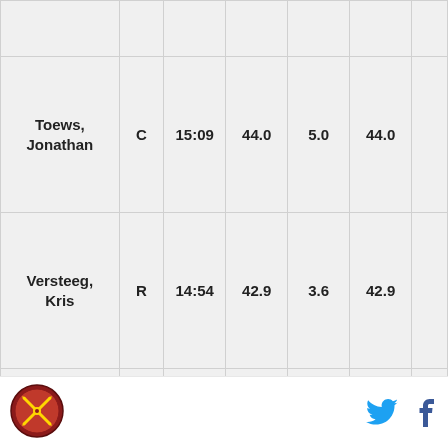| Player | Pos | TOI | CF% | CF% Rel | FF% | FF% Rel |
| --- | --- | --- | --- | --- | --- | --- |
| Toews, Jonathan | C | 15:09 | 44.0 | 5.0 | 44.0 |  |
| Versteeg, Kris | R | 14:54 | 42.9 | 3.6 | 42.9 |  |
| Handzus, Michal | C | 08:44 | 38.9 | -2.0 | 41.2 |  |
| Oduya, Johnny | D | 17:31 | 23.8 | -22.2 | 23.8 | - |
| Smith, Ben | R | 14:19 | 50.0 | 13.8 | 50.0 |  |
[Figure (logo): Sports team logo (circular badge with crossed swords)]